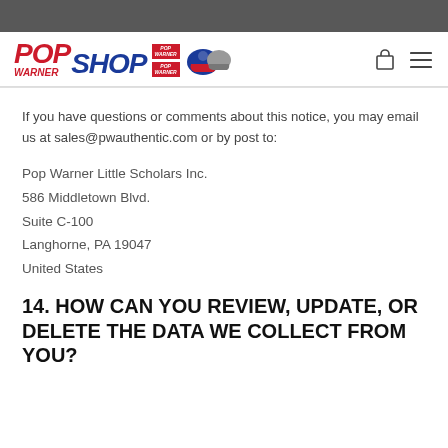[Figure (logo): Pop Warner Shop logo with helmet icons, shopping bag icon and hamburger menu icon]
If you have questions or comments about this notice, you may email us at sales@pwauthentic.com or by post to:
Pop Warner Little Scholars Inc.
586 Middletown Blvd.
Suite C-100
Langhorne, PA 19047
United States
14. HOW CAN YOU REVIEW, UPDATE, OR DELETE THE DATA WE COLLECT FROM YOU?